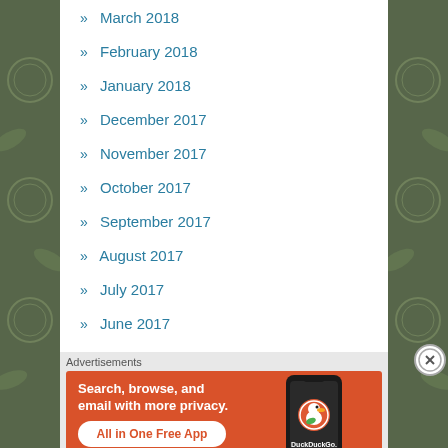» March 2018
» February 2018
» January 2018
» December 2017
» November 2017
» October 2017
» September 2017
» August 2017
» July 2017
» June 2017
» May 2017
Advertisements
[Figure (infographic): DuckDuckGo advertisement banner on orange background with text 'Search, browse, and email with more privacy. All in One Free App' and DuckDuckGo logo with phone image]